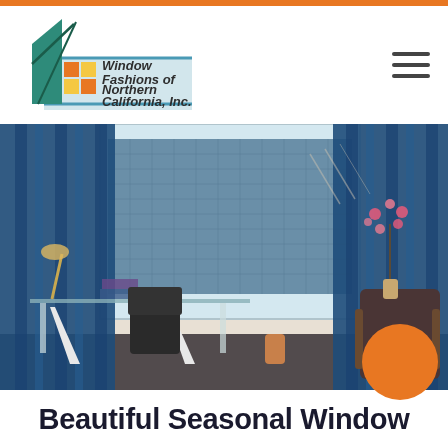[Figure (logo): Window Fashions of Northern California, Inc. logo with teal/blue house shape and orange/yellow squares, diagonal lines, and company name text]
[Figure (photo): Interior room photo showing elegant drapery and window treatments: navy blue floor-length drapes flanking a woven roller shade on a large window, with a glass desk, office chair, and accent chair with pink floral arrangement]
Beautiful Seasonal Window